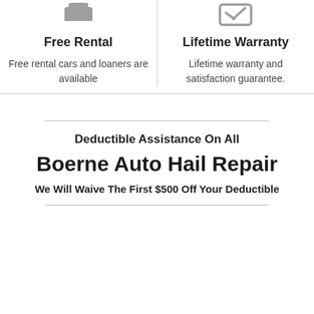[Figure (illustration): Gray icon of a car/rental vehicle (partially visible at top)]
Free Rental
Free rental cars and loaners are available
[Figure (illustration): Gray icon of a warranty/certificate badge (partially visible at top right)]
Lifetime Warranty
Lifetime warranty and satisfaction guarantee.
Deductible Assistance On All
Boerne Auto Hail Repair
We Will Waive The First $500 Off Your Deductible